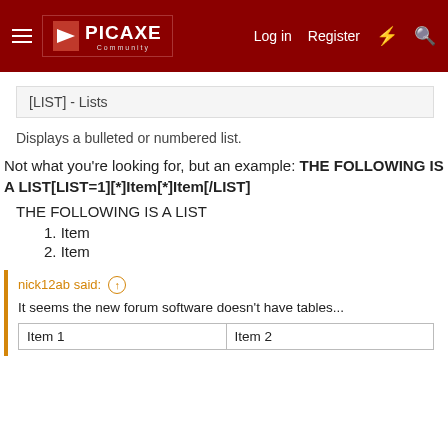PICAXE Community — Log in  Register
[LIST] - Lists
Displays a bulleted or numbered list.
Not what you're looking for, but an example: THE FOLLOWING IS A LIST[LIST=1][*]Item[*]Item[/LIST]
THE FOLLOWING IS A LIST
1. Item
2. Item
nick12ab said: ↑
It seems the new forum software doesn't have tables...
Item 1   Item 2